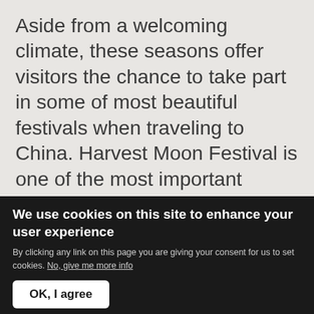Aside from a welcoming climate, these seasons offer visitors the chance to take part in some of most beautiful festivals when traveling to China. Harvest Moon Festival is one of the most important celebrations in the Chinese calendar. Dating back over 3,000 years when the emperors of the ancient Shang dynasty would pray to the moon for a bountiful harvest in the coming year. The
We use cookies on this site to enhance your user experience
By clicking any link on this page you are giving your consent for us to set cookies. No, give me more info
OK, I agree